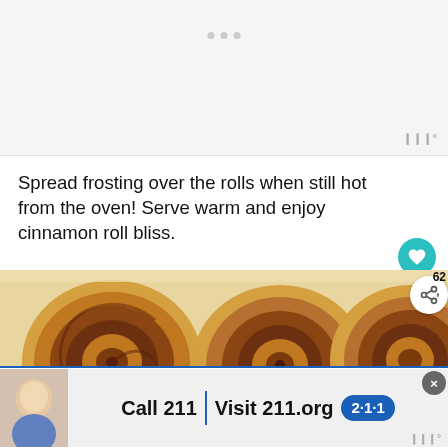[Figure (other): Ad placeholder area with three dots indicating a loading advertisement]
Spread frosting over the rolls when still hot from the oven! Serve warm and enjoy cinnamon roll bliss.
[Figure (photo): Close-up photo of three large cinnamon rolls in a baking pan, showing swirled cinnamon filling]
[Figure (other): WHAT'S NEXT — The Best Brownie... promotional widget with thumbnail]
[Figure (other): Advertisement banner: Call 211 | Visit 211.org with 2-1-1 badge logo]